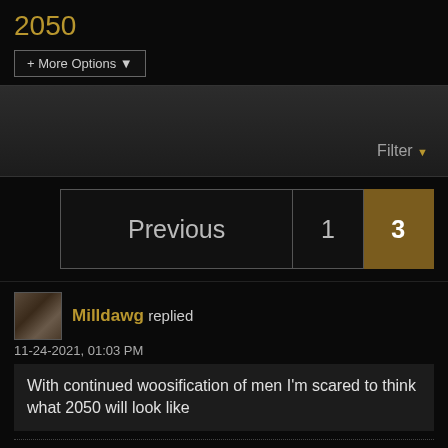2050
+ More Options ▾
Filter ▾
Previous  1  3
Milldawg replied
11-24-2021, 01:03 PM
With continued woosification of men I'm scared to think what 2050 will look like
FirstBubba replied